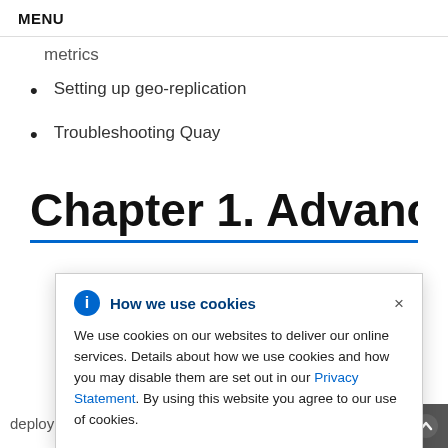MENU
metrics
Setting up geo-replication
Troubleshooting Quay
Chapter 1. Advanced
We use cookies on our websites to deliver our online services. Details about how we use cookies and how you may disable them are set out in our Privacy Statement. By using this website you agree to our use of cookies.
ter initial
deployment using several different interfaces: